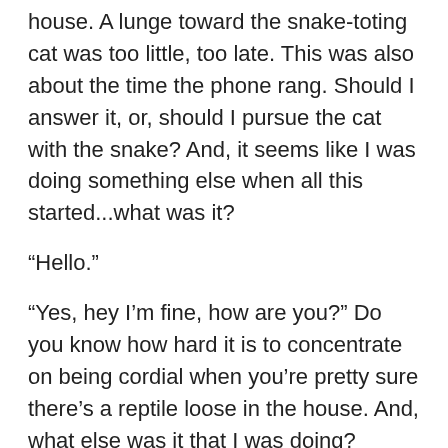house. A lunge toward the snake-toting cat was too little, too late. This was also about the time the phone rang. Should I answer it, or, should I pursue the cat with the snake? And, it seems like I was doing something else when all this started...what was it?
“Hello.”
“Yes, hey I’m fine, how are you?” Do you know how hard it is to concentrate on being cordial when you’re pretty sure there’s a reptile loose in the house. And, what else was it that I was doing?